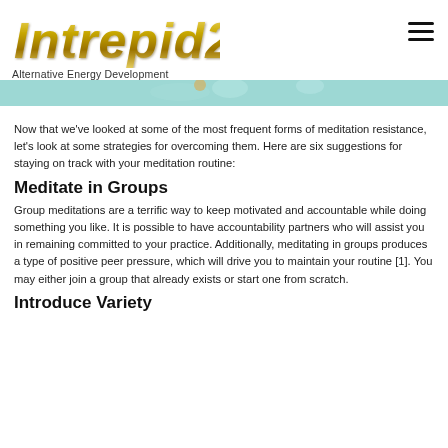[Figure (logo): Intrepid21 logo in italic gold/yellow stylized text]
Alternative Energy Development
[Figure (photo): Teal/mint colored decorative banner image strip]
Now that we've looked at some of the most frequent forms of meditation resistance, let's look at some strategies for overcoming them. Here are six suggestions for staying on track with your meditation routine:
Meditate in Groups
Group meditations are a terrific way to keep motivated and accountable while doing something you like. It is possible to have accountability partners who will assist you in remaining committed to your practice. Additionally, meditating in groups produces a type of positive peer pressure, which will drive you to maintain your routine [1]. You may either join a group that already exists or start one from scratch.
Introduce Variety